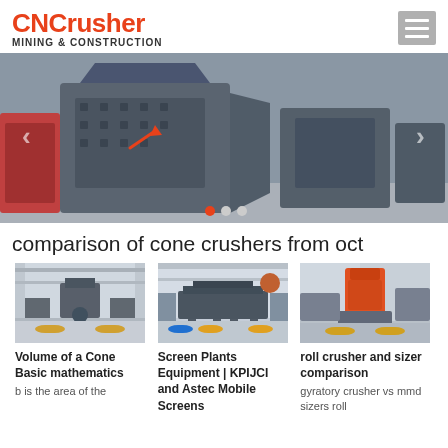CNCrusher MINING & CONSTRUCTION
[Figure (photo): Large industrial crusher machines in a factory warehouse, shown in a hero banner slider with navigation arrows and dot indicators]
comparison of cone crushers from oct
[Figure (photo): Industrial cone crusher machine in a factory floor setting]
Volume of a Cone Basic mathematics
b is the area of the
[Figure (photo): Screen plant equipment machine in a factory setting]
Screen Plants Equipment | KPIJCI and Astec Mobile Screens
[Figure (photo): Red and grey cone/gyratory crusher machine in outdoor or warehouse setting]
roll crusher and sizer comparison
gyratory crusher vs mmd sizers roll